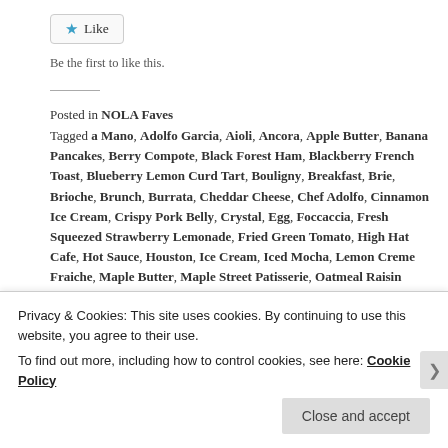[Figure (other): Like button with blue star icon]
Be the first to like this.
Posted in NOLA Faves
Tagged a Mano, Adolfo Garcia, Aioli, Ancora, Apple Butter, Banana Pancakes, Berry Compote, Black Forest Ham, Blackberry French Toast, Blueberry Lemon Curd Tart, Bouligny, Breakfast, Brie, Brioche, Brunch, Burrata, Cheddar Cheese, Chef Adolfo, Cinnamon Ice Cream, Crispy Pork Belly, Crystal, Egg, Foccaccia, Fresh Squeezed Strawberry Lemonade, Fried Green Tomato, High Hat Cafe, Hot Sauce, Houston, Ice Cream, Iced Mocha, Lemon Creme Fraiche, Maple Butter, Maple Street Patisserie, Oatmeal Raisin
Privacy & Cookies: This site uses cookies. By continuing to use this website, you agree to their use.
To find out more, including how to control cookies, see here: Cookie Policy
Close and accept